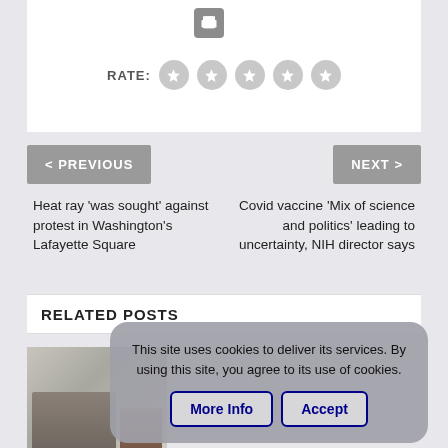[Figure (other): Print icon button (printer symbol) in a dark gray square with rounded corners]
RATE: ★ ★ ★ ★ ★ (five empty star rating circles)
< PREVIOUS
NEXT >
Heat ray 'was sought' against protest in Washington's Lafayette Square
Covid vaccine 'Mix of science and politics' leading to uncertainty, NIH director says
RELATED POSTS
[Figure (photo): Blurred photo of a living room scene with furniture and decorative items]
This site uses cookies to deliver its services. By using this site, you agree to its use of cookies.
More Info
Accept